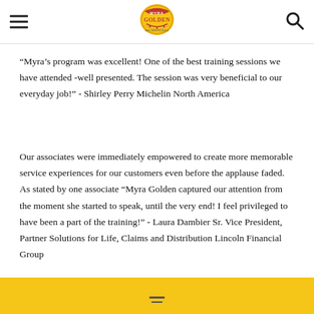Myra Golden logo header with hamburger menu and search icon
“Myra’s program was excellent! One of the best training sessions we have attended -well presented. The session was very beneficial to our everyday job!” - Shirley Perry Michelin North America
Our associates were immediately empowered to create more memorable service experiences for our customers even before the applause faded. As stated by one associate “Myra Golden captured our attention from the moment she started to speak, until the very end! I feel privileged to have been a part of the training!” - Laura Dambier Sr. Vice President, Partner Solutions for Life, Claims and Distribution Lincoln Financial Group